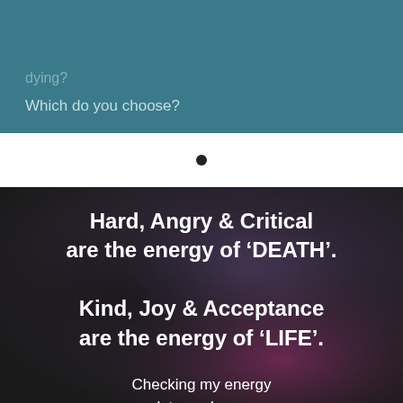dying?
Which do you choose?
[Figure (illustration): Dark gradient background image (dark gray to purple/maroon) with white text overlay containing motivational quotes about energy of DEATH and LIFE]
Hard, Angry & Critical are the energy of ‘DEATH’. Kind, Joy & Acceptance are the energy of ‘LIFE’. Checking my energy lets me know whether I’m choosing